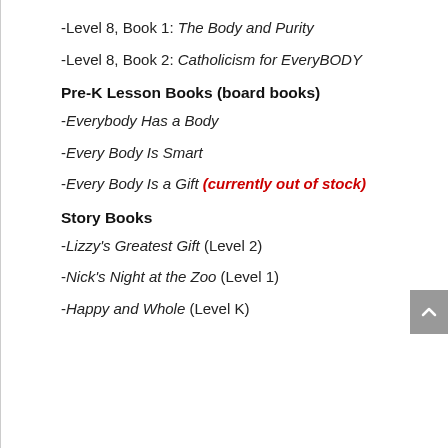-Level 8, Book 1: The Body and Purity
-Level 8, Book 2: Catholicism for EveryBODY
Pre-K Lesson Books (board books)
-Everybody Has a Body
-Every Body Is Smart
-Every Body Is a Gift (currently out of stock)
Story Books
-Lizzy's Greatest Gift (Level 2)
-Nick's Night at the Zoo (Level 1)
-Happy and Whole (Level K)